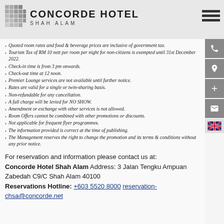CONCORDE HOTEL SHAH ALAM
Quoted room rates and food & beverage prices are inclusive of government tax.
Tourism Tax of RM 10 nett per room per night for non-citizens is exempted until 31st December 2022.
Check-in time is from 3 pm onwards.
Check-out time at 12 noon.
Premier Lounge services are not available until further notice.
Rates are valid for a single or twin-sharing basis.
Non-refundable for any cancellation.
A full charge will be levied for NO SHOW.
Amendment or exchange with other services is not allowed.
Room Offers cannot be combined with other promotions or discounts.
Not applicable for frequent flyer programmes.
The information provided is correct at the time of publishing.
The Management reserves the right to change the promotion and its terms & conditions without any prior notice.
For reservation and information please contact us at: Concorde Hotel Shah Alam Address: 3 Jalan Tengku Ampuan Zabedah C9/C Shah Alam 40100 Reservations Hotline: +603 5520 8000 reservation-chsa@concorde.net